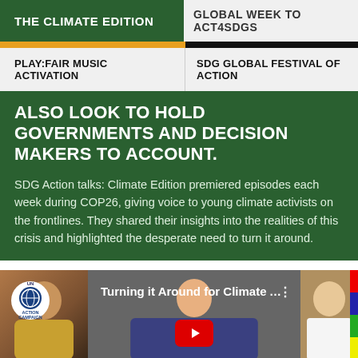THE CLIMATE EDITION
GLOBAL WEEK TO ACT4SDGS
PLAY:FAIR MUSIC ACTIVATION
SDG GLOBAL FESTIVAL OF ACTION
ALSO LOOK TO HOLD GOVERNMENTS AND DECISION MAKERS TO ACCOUNT.
SDG Action talks: Climate Edition premiered episodes each week during COP26, giving voice to young climate activists on the frontlines. They shared their insights into the realities of this crisis and highlighted the desperate need to turn it around.
[Figure (screenshot): Video thumbnail for 'Turning it Around for Climate A...' featuring multiple speakers and a YouTube play button, with the Action Campaign logo]